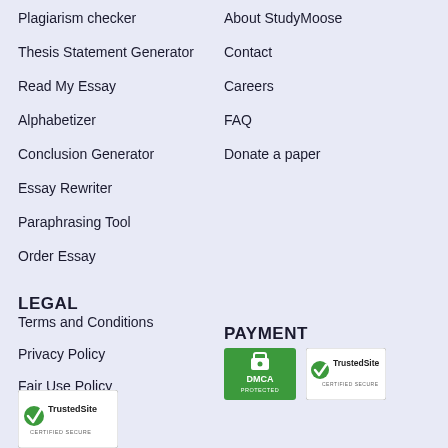Plagiarism checker
About StudyMoose
Thesis Statement Generator
Contact
Read My Essay
Careers
Alphabetizer
FAQ
Conclusion Generator
Donate a paper
Essay Rewriter
Paraphrasing Tool
Order Essay
LEGAL
PAYMENT
Terms and Conditions
Privacy Policy
Fair Use Policy
[Figure (logo): DMCA Protected badge - green shield with lock icon and DMCA PROTECTED text]
[Figure (logo): TrustedSite Certified Secure badge - green checkmark with TrustedSite text]
[Figure (logo): TrustedSite Certified Secure badge at bottom left corner]